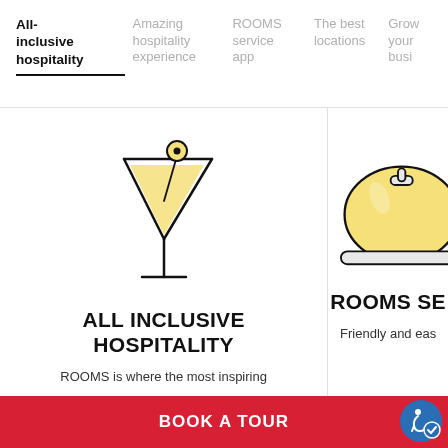All-inclusive hospitality | Amazing hospitality experience | ROOMS service app | The best locations | Grow your busi...
[Figure (illustration): Cocktail martini glass with olive on a stick, illustrated in yellow/cream and black outline]
ALL INCLUSIVE HOSPITALITY
ROOMS is where the most inspiring
[Figure (illustration): Silver/gold room service cloche lid, illustrated in yellow and black outline]
ROOMS SE...
Friendly and eas...
BOOK A TOUR